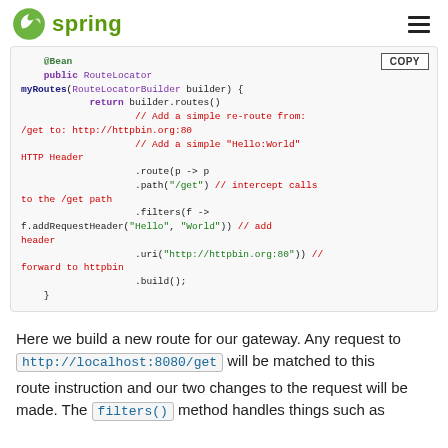Spring
[Figure (screenshot): Spring Framework logo with leaf icon and hamburger menu]
@Bean
    public RouteLocator myRoutes(RouteLocatorBuilder builder) {
            return builder.routes()
                    // Add a simple re-route from: /get to: http://httpbin.org:80
                    // Add a simple "Hello:World" HTTP Header
                    .route(p -> p
                    .path("/get") // intercept calls to the /get path
                    .filters(f ->
f.addRequestHeader("Hello", "World")) // add header
                    .uri("http://httpbin.org:80")) //
 forward to httpbin
                    .build();
    }
Here we build a new route for our gateway. Any request to http://localhost:8080/get will be matched to this route instruction and our two changes to the request will be made. The filters() method handles things such as